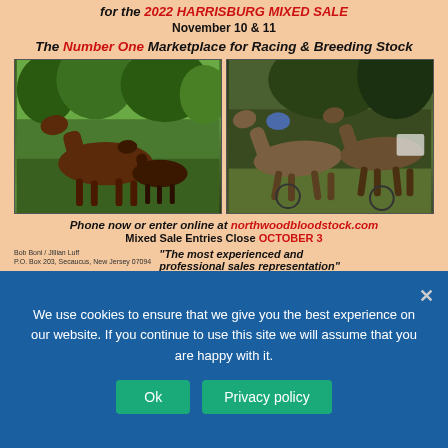for the 2022 HARRISBURG MIXED SALE November 10 & 11
The Number One Marketplace for Racing & Breeding Stock
[Figure (photo): Two photos side by side: left shows a mare and foal in a green pasture; right shows harness racing horses in action]
Phone now or enter online at northwoodbloodstock.com
Mixed Sale Entries Close OCTOBER 3
Bob Boni / Jillian Luff
P.O. Box 203, Secaucus, New Jersey 07094
"The most experienced and professional sales representation"
We use cookies to ensure that we give you the best experience on our website. If you continue to use this site we will assume that you are happy with it.